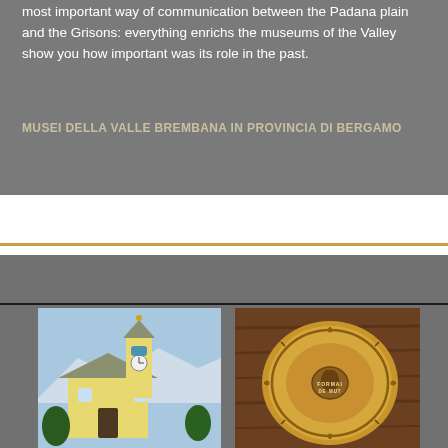most important way of communication between the Padana plain and the Grisons: everything enrichs the museums of the Valley show you how important was its role in the past.
MUSEI DELLA VALLE BREMBANA IN PROVINCIA DI BERGAMO
[Figure (photo): Photo of a church with a bell tower against a mountain backdrop with blue sky]
[Figure (photo): Photo of a round wheel of cheese with decorative markings and text reading 'FORMAI DE MUT' against a wooden background]